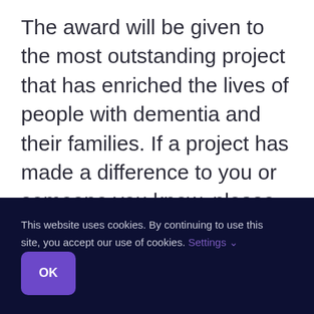The award will be given to the most outstanding project that has enriched the lives of people with dementia and their families. If a project has made a difference to you or someone you know, please let them know and put them forward.
This website uses cookies. By continuing to use this site, you accept our use of cookies. Settings ✓  OK